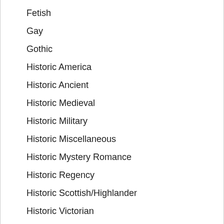Fetish
Gay
Gothic
Historic America
Historic Ancient
Historic Medieval
Historic Military
Historic Miscellaneous
Historic Mystery Romance
Historic Regency
Historic Scottish/Highlander
Historic Victorian
Historical
Holidays
Horror
Lesbian
Magick